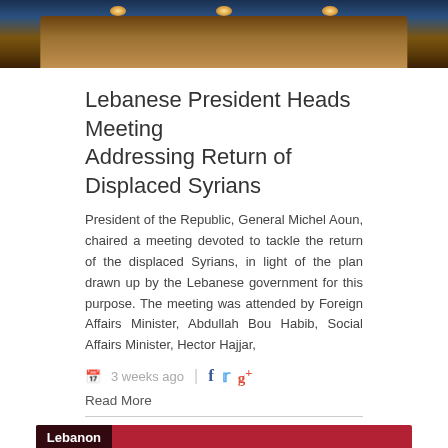[Figure (photo): Top portion of a meeting room photo showing a large wooden table with recessed ceiling lights above]
Lebanese President Heads Meeting Addressing Return of Displaced Syrians
President of the Republic, General Michel Aoun, chaired a meeting devoted to tackle the return of the displaced Syrians, in light of the plan drawn up by the Lebanese government for this purpose. The meeting was attended by Foreign Affairs Minister, Abdullah Bou Habib, Social Affairs Minister, Hector Hajjar,
3 weeks ago
Read More
[Figure (photo): Lebanese flag waving with red, white, red stripes and green cedar tree in the center, with a 'Lebanon' label overlay]